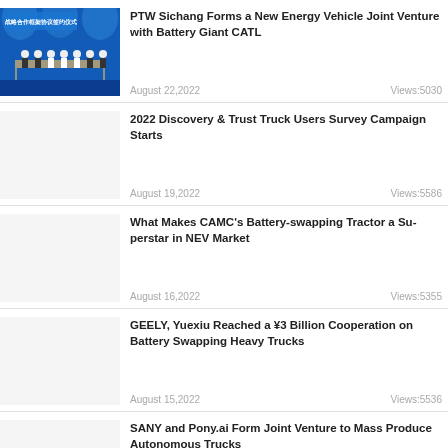[Figure (photo): Group of people on stage at a strategic cooperation signing ceremony, with blue background and Chinese text]
PTW Sichang Forms a New Energy Vehicle Joint Venture with Battery Giant CATL
August 22,2022   Views:5030
2022 Discovery & Trust Truck Users Survey Campaign Starts
August 19,2022   Views:5586
What Makes CAMC's Battery-swapping Tractor a Superstar in NEV Market
August 16,2022   Views:5355
GEELY, Yuexiu Reached a ¥3 Billion Cooperation on Battery Swapping Heavy Trucks
August 15,2022   Views:5536
SANY and Pony.ai Form Joint Venture to Mass Produce Autonomous Trucks
August 09,2022   Views:6078